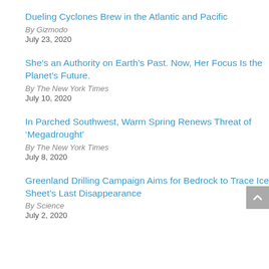Dueling Cyclones Brew in the Atlantic and Pacific
By Gizmodo
July 23, 2020
She’s an Authority on Earth’s Past. Now, Her Focus Is the Planet’s Future.
By The New York Times
July 10, 2020
In Parched Southwest, Warm Spring Renews Threat of ‘Megadrought’
By The New York Times
July 8, 2020
Greenland Drilling Campaign Aims for Bedrock to Trace Ice Sheet’s Last Disappearance
By Science
July 2, 2020